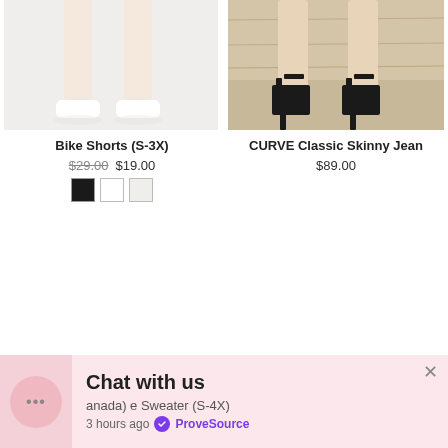[Figure (photo): Product photo of Bike Shorts model legs with white sneakers on light background]
[Figure (photo): Product photo of CURVE Classic Skinny Jean model feet/ankles with black strappy sandals on wood floor]
Bike Shorts (S-3X)
$29.00 $19.00
CURVE Classic Skinny Jean
$89.00
[Figure (photo): Model wearing black skinny jeans, torso and legs visible, white background]
[Figure (photo): Model wearing dark charcoal skinny jeans, torso and legs visible, light background]
Chat with us
anada) e Sweater (S-4X)
3 hours ago ProveSource